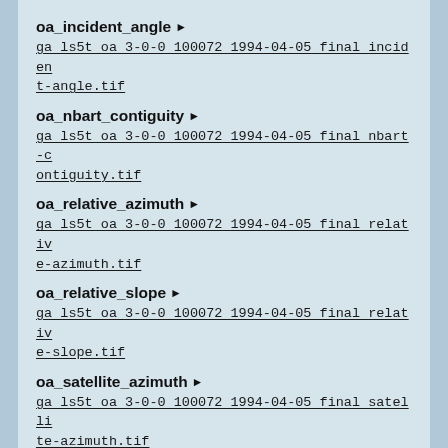oa_incident_angle ▶
ga ls5t oa 3-0-0 100072 1994-04-05 final incident-angle.tif
oa_nbart_contiguity ▶
ga ls5t oa 3-0-0 100072 1994-04-05 final nbart-contiguity.tif
oa_relative_azimuth ▶
ga ls5t oa 3-0-0 100072 1994-04-05 final relative-azimuth.tif
oa_relative_slope ▶
ga ls5t oa 3-0-0 100072 1994-04-05 final relative-slope.tif
oa_satellite_azimuth ▶
ga ls5t oa 3-0-0 100072 1994-04-05 final satellite-azimuth.tif
oa_satellite_view ▶
ga ls5t oa 3-0-0 100072 1994-04-05 final satelli